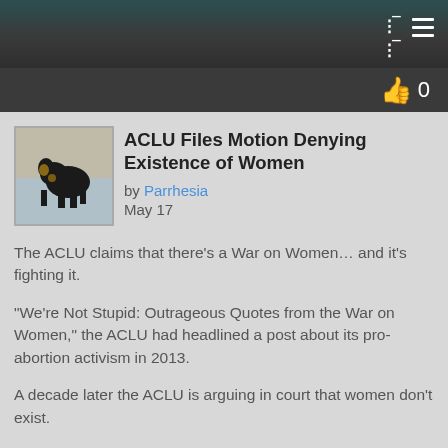menu icon / navigation bar
[Figure (other): Dark teal and dark gray top navigation bar with a hamburger/list menu icon in the top right corner]
[Figure (other): Dark gray like/vote bar with a thumbs up icon and the number 0 on the right side]
[Figure (photo): Small square avatar photo showing a black dog outdoors]
ACLU Files Motion Denying Existence of Women
by Parrhesia
May 17
The ACLU claims that there’s a War on Women… and it’s fighting it.
"We’re Not Stupid: Outrageous Quotes from the War on Women," the ACLU had headlined a post about its pro-abortion activism in 2013.
A decade later the ACLU is arguing in court that women don’t exist.
Not only does the ACLU’s current abortion coverage eliminate any mention of women, but in response to a